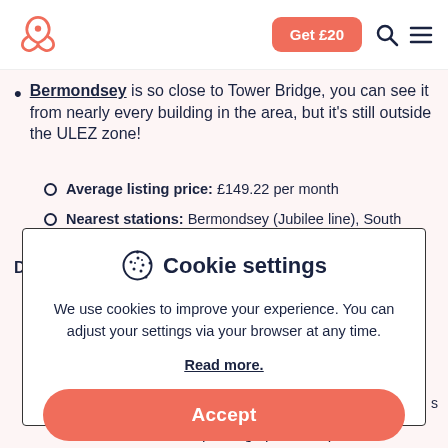Airbnb-style navigation with logo, Get £20 button, search icon, menu icon
Bermondsey is so close to Tower Bridge, you can see it from nearly every building in the area, but it's still outside the ULEZ zone!
Average listing price: £149.22 per month
Nearest stations: Bermondsey (Jubilee line), South Bermondsey (Southern Rail)
[Figure (screenshot): Cookie settings modal dialog with cookie icon, title 'Cookie settings', body text about cookies, 'Read more.' link, and orange 'Accept' button]
commuters, with parking space to spare.